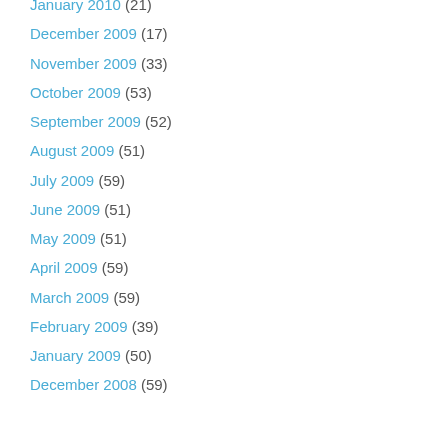January 2010 (21)
December 2009 (17)
November 2009 (33)
October 2009 (53)
September 2009 (52)
August 2009 (51)
July 2009 (59)
June 2009 (51)
May 2009 (51)
April 2009 (59)
March 2009 (59)
February 2009 (39)
January 2009 (50)
December 2008 (59)